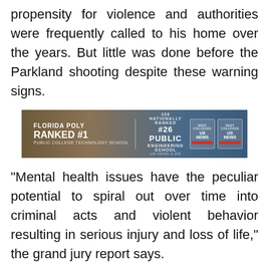propensity for violence and authorities were frequently called to his home over the years. But little was done before the Parkland shooting despite these warning signs.
[Figure (other): Florida Poly advertisement banner: 'FLORIDA POLY RANKED #1 PUBLIC COLLEGE TECHNOLOGY SCHOOL' and '#26 PUBLIC ENGINEERING SCHOOL' with Best Colleges US News badges]
“Mental health issues have the peculiar potential to spiral out over time into criminal acts and violent behavior resulting in serious injury and loss of life,” the grand jury report says.
The report adds that Florida’s system of treating mental health problems is woefully underfunded and that people seeking help face a “patchwork” of options that often conflict with each other.